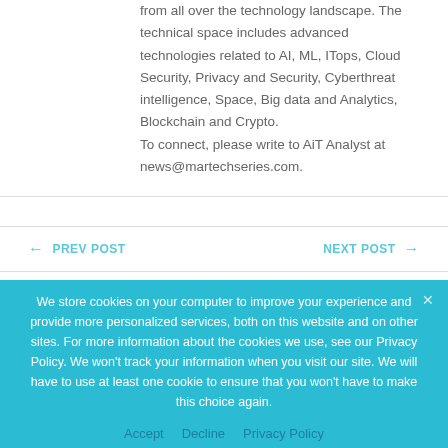from all over the technology landscape. The technical space includes advanced technologies related to AI, ML, ITops, Cloud Security, Privacy and Security, Cyberthreat intelligence, Space, Big data and Analytics, Blockchain and Crypto.
To connect, please write to AiT Analyst at news@martechseries.com.
← PREV POST   NEXT POST →
We store cookies on your computer to improve your experience and provide more personalized services, both on this website and on other sites. For more information about the cookies we use, see our Privacy Policy. We won't track your information when you visit our site. We will have to use at least one cookie to ensure that you won't have to make this choice again.
Accept   Decline   Privacy Policy